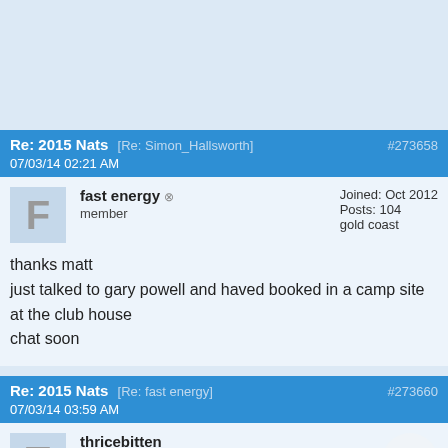Re: 2015 Nats [Re: Simon_Hallsworth] #273658 07/03/14 02:21 AM
fast energy
member
Joined: Oct 2012
Posts: 104
gold coast
thanks matt
just talked to gary powell and haved booked in a camp site at the club house
chat soon
Re: 2015 Nats [Re: fast energy] #273660 07/03/14 03:59 AM
thricebitten
Unregistered